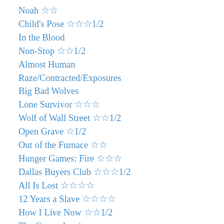Noah ☆☆
Child's Pose ☆☆☆1/2
In the Blood
Non-Stop ☆☆1/2
Almost Human
Raze/Contracted/Exposures
Big Bad Wolves
Lone Survivor ☆☆☆
Wolf of Wall Street ☆☆1/2
Open Grave ☆1/2
Out of the Furnace ☆☆
Hunger Games: Fire ☆☆☆
Dallas Buyers Club ☆☆☆1/2
All Is Lost ☆☆☆☆
12 Years a Slave ☆☆☆☆
How I Live Now ☆☆1/2
The Counselor ☆
Escape Plan ☆☆1/2
Carrie ☆☆
Captain Phillips ☆☆☆1/2